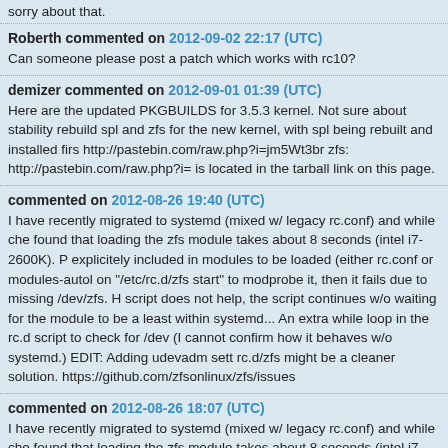sorry about that.
Roberth commented on 2012-09-02 22:17 (UTC)
Can someone please post a patch which works with rc10?
demizer commented on 2012-09-01 01:39 (UTC)
Here are the updated PKGBUILDS for 3.5.3 kernel. Not sure about stability rebuild spl and zfs for the new kernel, with spl being rebuilt and installed first http://pastebin.com/raw.php?i=jm5Wt3br zfs: http://pastebin.com/raw.php?i= is located in the tarball link on this page.
commented on 2012-08-26 19:40 (UTC)
I have recently migrated to systemd (mixed w/ legacy rc.conf) and while che found that loading the zfs module takes about 8 seconds (intel i7-2600K). P explicitely included in modules to be loaded (either rc.conf or modules-autol on "/etc/rc.d/zfs start" to modprobe it, then it fails due to missing /dev/zfs. H script does not help, the script continues w/o waiting for the module to be a least within systemd... An extra while loop in the rc.d script to check for /dev (I cannot confirm how it behaves w/o systemd.) EDIT: Adding udevadm sett rc.d/zfs might be a cleaner solution. https://github.com/zfsonlinux/zfs/issues
commented on 2012-08-26 18:07 (UTC)
I have recently migrated to systemd (mixed w/ legacy rc.conf) and while che found that loading the zfs module takes about 8 seconds (intel i7-2600K). P explicitely included in modules to be loaded (either rc.conf or modules-aut